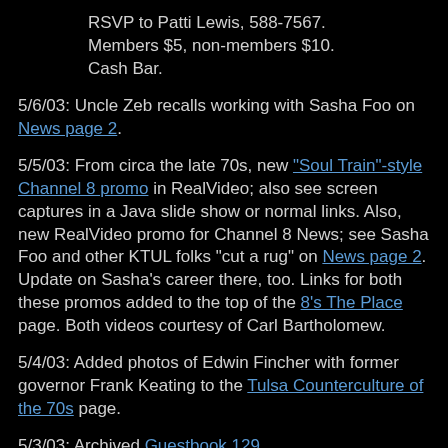RSVP to Patti Lewis, 588-7567. Members $5, non-members $10. Cash Bar.
5/6/03: Uncle Zeb recalls working with Sasha Foo on News page 2.
5/5/03: From circa the late 70s, new "Soul Train"-style Channel 8 promo in RealVideo; also see screen captures in a Java slide show or normal links. Also, new RealVideo promo for Channel 8 News; see Sasha Foo and other KTUL folks "cut a rug" on News page 2. Update on Sasha's career there, too. Links for both these promos added to the top of the 8's The Place page. Both videos courtesy of Carl Bartholomew.
5/4/03: Added photos of Edwin Fincher with former governor Frank Keating to the Tulsa Counterculture of the 70s page.
5/3/03: Archived Guestbook 129.
4/30/03: Jeri Ledbetter (daughter of Tom